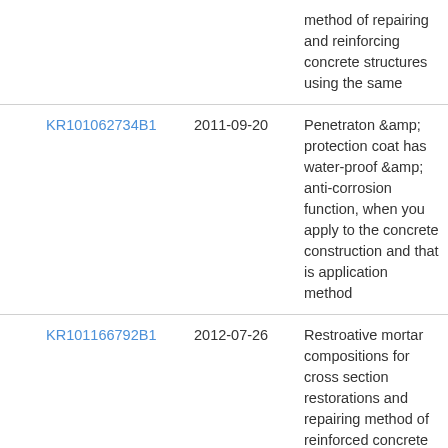|  | Patent Number | Date | Title |
| --- | --- | --- | --- |
|  |  |  | method of repairing and reinforcing concrete structures using the same |
|  | KR101062734B1 | 2011-09-20 | Penetraton &amp; protection coat has water-proof &amp; anti-corrosion function, when you apply to the concrete construction and that is application method |
|  | KR101166792B1 | 2012-07-26 | Restroative mortar compositions for cross section restorations and repairing method of reinforced concrete using that |
|  | KR101621199B1 | 2016-05-13 | Mortar composition for repairing and reinforcing concrete structure of road gutter and small-damaged part of road, and method of repairing and reinforcing concrete structure of road gutter and small-damaged part of road |